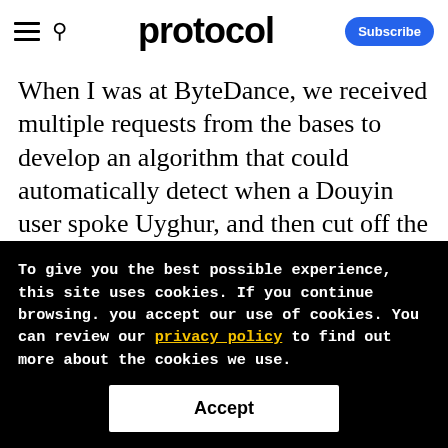protocol
When I was at ByteDance, we received multiple requests from the bases to develop an algorithm that could automatically detect when a Douyin user spoke Uyghur, and then cut off the livestream session. The moderators had asked for this because they didn't understand the language. Streamers speaking ethnic languages and dialects
To give you the best possible experience, this site uses cookies. If you continue browsing. you accept our use of cookies. You can review our privacy policy to find out more about the cookies we use.
Accept